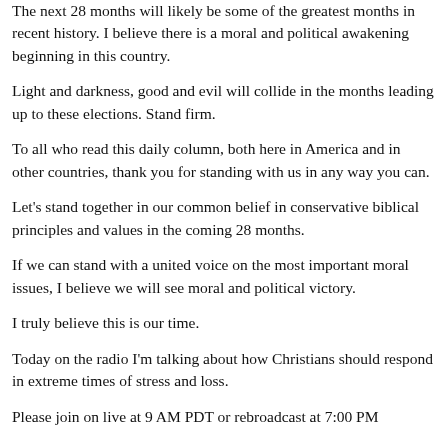The next 28 months will likely be some of the greatest months in recent history. I believe there is a moral and political awakening beginning in this country.
Light and darkness, good and evil will collide in the months leading up to these elections. Stand firm.
To all who read this daily column, both here in America and in other countries, thank you for standing with us in any way you can.
Let's stand together in our common belief in conservative biblical principles and values in the coming 28 months.
If we can stand with a united voice on the most important moral issues, I believe we will see moral and political victory.
I truly believe this is our time.
Today on the radio I'm talking about how Christians should respond in extreme times of stress and loss.
Please join on live at 9 AM PDT or rebroadcast at 7:00 PM